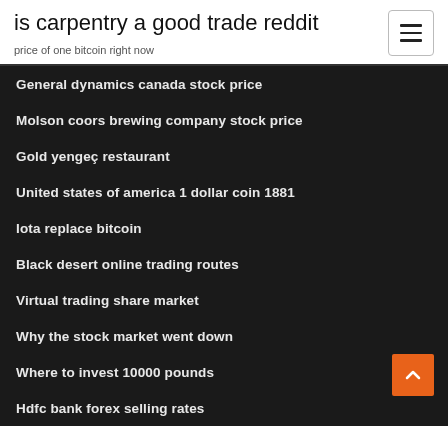is carpentry a good trade reddit
price of one bitcoin right now
General dynamics canada stock price
Molson coors brewing company stock price
Gold yengeç restaurant
United states of america 1 dollar coin 1881
Iota replace bitcoin
Black desert online trading routes
Virtual trading share market
Why the stock market went down
Where to invest 10000 pounds
Hdfc bank forex selling rates